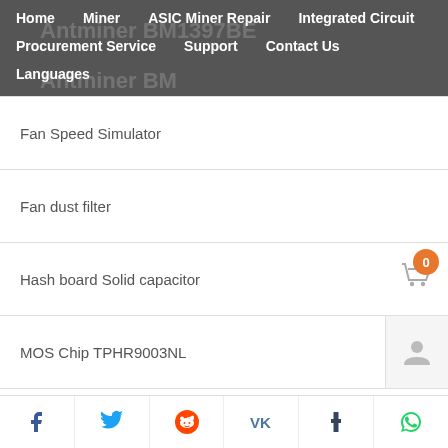Home | Miner | ASIC Miner Repair | Integrated Circuit | Procurement Service | Support | Contact Us | Languages
Fan Speed Simulator
Fan dust filter
Hash board Solid capacitor
MOS Chip TPHR9003NL
Antminer S9i Control Board
Control panel data interface
Facebook | Twitter | Reddit | VK | Tumblr | WhatsApp